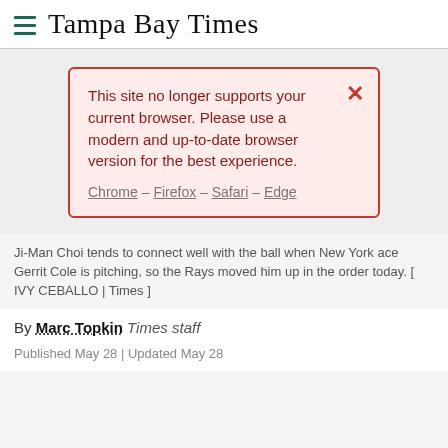Tampa Bay Times
[Figure (screenshot): Browser compatibility alert box with red border and pink background. Text reads: 'This site no longer supports your current browser. Please use a modern and up-to-date browser version for the best experience.' Links: Chrome – Firefox – Safari – Edge. Red X close button in top right.]
Ji-Man Choi tends to connect well with the ball when New York ace Gerrit Cole is pitching, so the Rays moved him up in the order today. [ IVY CEBALLO | Times ]
By Marc Topkin Times staff
Published May 28 | Updated May 28